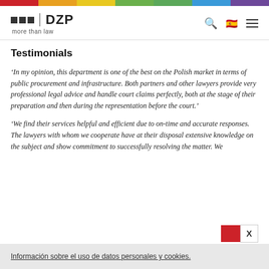[Figure (other): Rainbow colored top bar with segments in red, orange, yellow, green, teal, blue, and purple]
[Figure (logo): DZP law firm logo with three black squares and 'DZP' text and tagline 'more than law', plus search icon, Spanish flag icon, and hamburger menu icon]
Testimonials
‘In my opinion, this department is one of the best on the Polish market in terms of public procurement and infrastructure. Both partners and other lawyers provide very professional legal advice and handle court claims perfectly, both at the stage of their preparation and then during the representation before the court.’
‘We find their services helpful and efficient due to on-time and accurate responses. The lawyers with whom we cooperate have at their disposal extensive knowledge on the subject and show commitment to successfully resolving the matter. We
Información sobre el uso de datos personales y cookies.